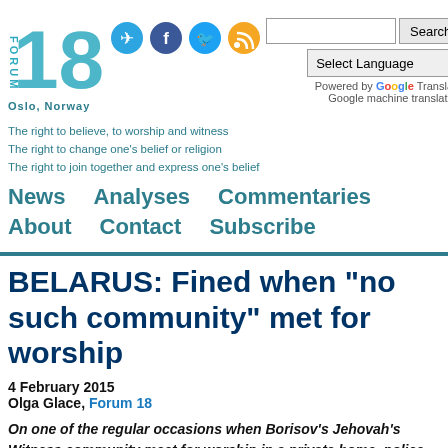[Figure (logo): Forum 18 logo with large '18' and 'FORUM' text, Oslo Norway below]
Forum 18 News Service - Oslo, Norway - Search and social icons header
The right to believe, to worship and witness
The right to change one's belief or religion
The right to join together and express one's belief
News   Analyses   Commentaries   About
Contact   Subscribe
BELARUS: Fined when "no such community" met for worship
4 February 2015
Olga Glace, Forum 18
On one of the regular occasions when Borisov's Jehovah's Witness community meet for worship in a private home, police raided, accompanied by Ideology Department official Lyudmila Gornak. The meeting's host, Andrei Kuzin, is now challenging in the Regional Court a fine of more